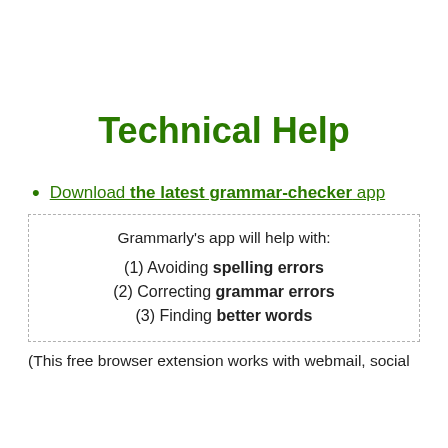Technical Help
Download the latest grammar-checker app
Grammarly's app will help with:
(1) Avoiding spelling errors
(2) Correcting grammar errors
(3) Finding better words
(This free browser extension works with webmail, social